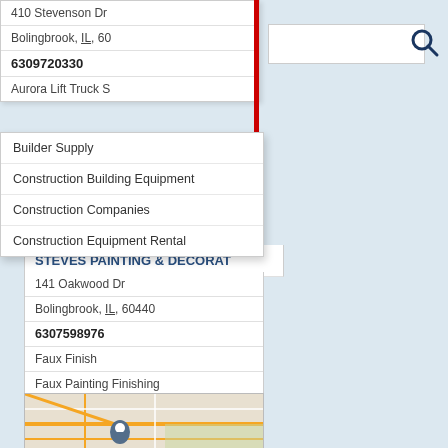410 Stevenson Dr
Bolingbrook, IL, 60
6309720330
Aurora Lift Truck S
Builder Supply
Construction Building Equipment
Construction Companies
Construction Equipment Rental
[Figure (map): Map showing location of Steves Painting & Decorat in Bolingbrook IL area with blue location pin]
STEVES PAINTING & DECORAT
141 Oakwood Dr
Bolingbrook, IL, 60440
6307598976
Faux Finish
Faux Painting Finishing
Interior Painting Designers Decorators
Stencils
[Figure (map): Map showing another business location in Bolingbrook IL area with blue location pin]